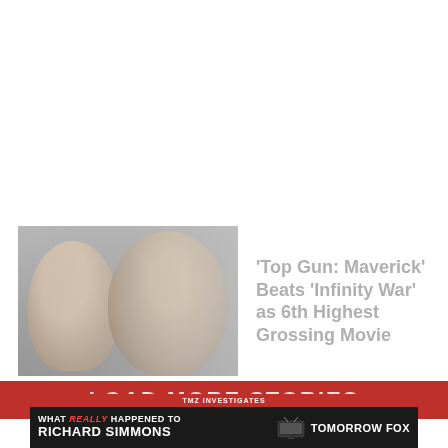[Figure (photo): Article thumbnail showing two people (Tom Cruise and another figure) with a faded/light overlay effect]
'Top Gun: Maverick' Beats 'Infinity War' as 6th Highest Grossing Movie
[Figure (screenshot): Red and black advertisement banner: TMZ INVESTIGATES - WHAT REALLY HAPPENED TO RICHARD SIMMONS - TOMORROW FOX]